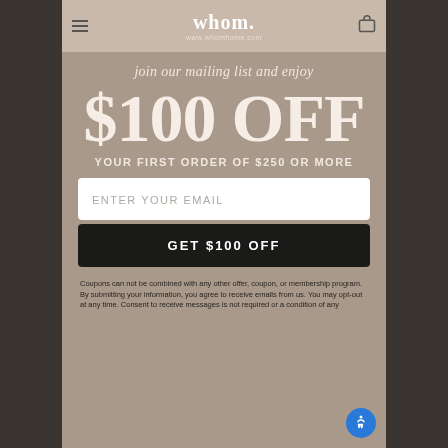whom. www.whomhome.com
join our mailing list and enjoy
$100 OFF
YOUR FIRST ORDER OF $250 OR MORE
ENTER YOUR EMAIL
GET $100 OFF
Coupons can not be combined with any other offer, coupon, or membership program. By submitting your information, you agree to receive emails from us. You may opt-out at any time. Consent to receive messages is not required or a condition of any